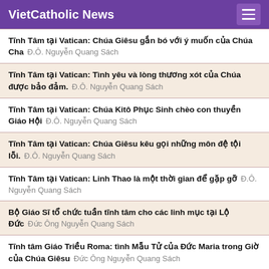VietCatholic News
Tĩnh Tâm tại Vatican: Chúa Giêsu gắn bó với ý muốn của Chúa Cha   Đ.Ô. Nguyễn Quang Sách
Tĩnh Tâm tại Vatican: Tình yêu và lòng thương xót của Chúa được bảo đảm.   Đ.Ô. Nguyễn Quang Sách
Tĩnh Tâm tại Vatican: Chúa Kitô Phục Sinh chèo con thuyền Giáo Hội   Đ.Ô. Nguyễn Quang Sách
Tĩnh Tâm tại Vatican: Chúa Giêsu kêu gọi những môn đệ tội lỗi.   Đ.Ô. Nguyễn Quang Sách
Tĩnh Tâm tại Vatican: Linh Thao là một thời gian để gặp gỡ   Đ.Ô. Nguyễn Quang Sách
Bộ Giáo Sĩ tổ chức tuần tĩnh tâm cho các linh mục tại Lộ Đức   Đức Ông Nguyễn Quang Sách
Tĩnh tâm Giáo Triều Roma: tình Mẫu Tử của Đức Maria trong Giờ của Chúa Giêsu   Đức Ông Nguyễn Quang Sách
Tĩnh tâm Giáo Triều Roma: "Giờ" của Chúa Giêsu là sự Viên Mãn...   Đức Ông Nguyễn Quang Sách